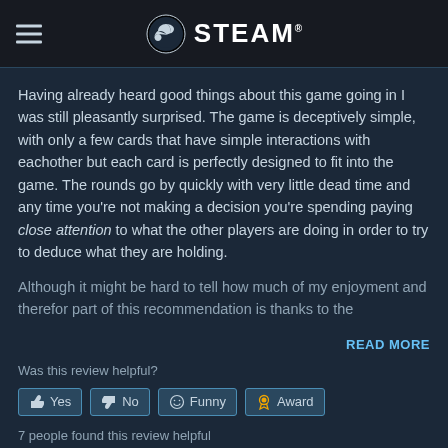STEAM
Having already heard good things about this game going in I was still pleasantly surprised. The game is deceptively simple, with only a few cards that have simple interactions with eachother but each card is perfectly designed to fit into the game. The rounds go by quickly with very little dead time and any time you're not making a decision you're spending paying close attention to what the other players are doing in order to try to deduce what they are holding.

Although it might be hard to tell how much of my enjoyment and therefor part of this recommendation is thanks to the
READ MORE
Was this review helpful?
Yes   No   Funny   Award
7 people found this review helpful